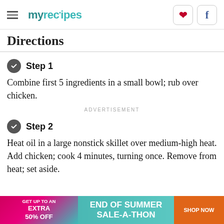myrecipes [Pinterest] [Facebook]
Directions
Step 1
Combine first 5 ingredients in a small bowl; rub over chicken.
ADVERTISEMENT
Step 2
Heat oil in a large nonstick skillet over medium-high heat. Add chicken; cook 4 minutes, turning once. Remove from heat; set aside.
[Figure (infographic): Ad banner: GET UP TO AN EXTRA 50% OFF END OF SUMMER SALE-A-THON SHOP NOW]